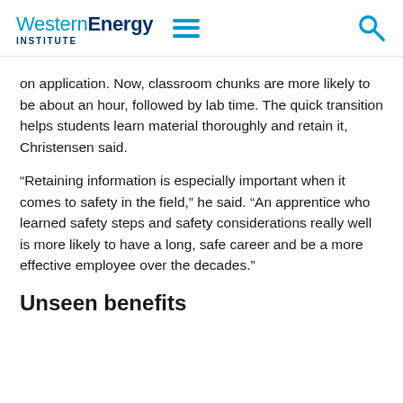Western Energy Institute
on application. Now, classroom chunks are more likely to be about an hour, followed by lab time. The quick transition helps students learn material thoroughly and retain it, Christensen said.
“Retaining information is especially important when it comes to safety in the field,” he said. “An apprentice who learned safety steps and safety considerations really well is more likely to have a long, safe career and be a more effective employee over the decades.”
Unseen benefits